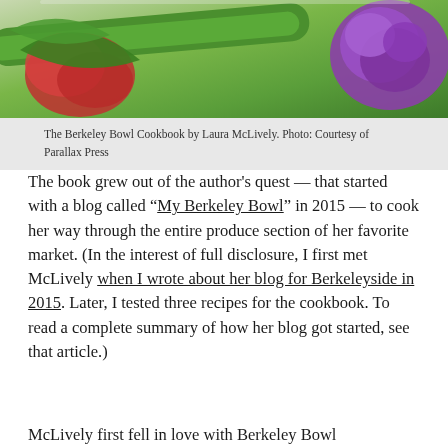[Figure (photo): Colorful vegetables including red dragon fruit or amaranth, green zucchini or cucumber, and purple cauliflower arranged together on a surface]
The Berkeley Bowl Cookbook by Laura McLively. Photo: Courtesy of Parallax Press
The book grew out of the author's quest — that started with a blog called “My Berkeley Bowl” in 2015 — to cook her way through the entire produce section of her favorite market. (In the interest of full disclosure, I first met McLively when I wrote about her blog for Berkeleyside in 2015. Later, I tested three recipes for the cookbook. To read a complete summary of how her blog got started, see that article.)
McLively first fell in love with Berkeley Bowl